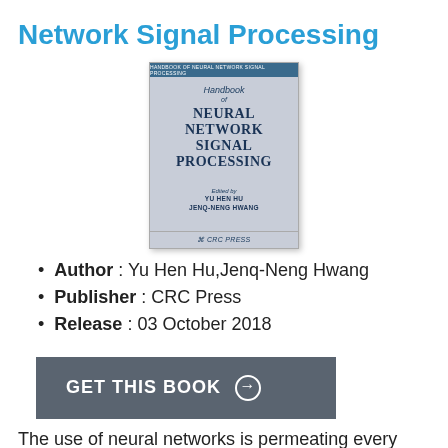Network Signal Processing
[Figure (photo): Book cover of 'Handbook of Neural Network Signal Processing' edited by Yu Hen Hu and Jenq-Neng Hwang, published by CRC Press. The cover has a blue header bar, grey background with neural network imagery, and dark blue bold title text.]
Author : Yu Hen Hu,Jenq-Neng Hwang
Publisher : CRC Press
Release : 03 October 2018
GET THIS BOOK →
The use of neural networks is permeating every area of signal processing. They can